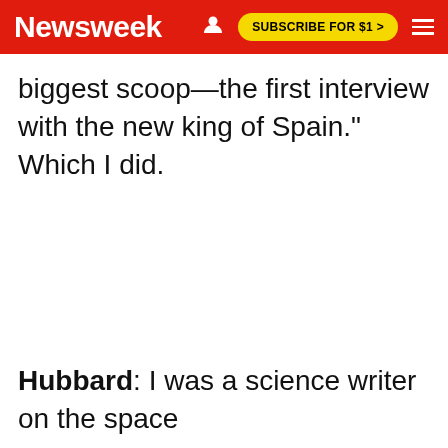Newsweek | SUBSCRIBE FOR $1 >
biggest scoop—the first interview with the new king of Spain." Which I did.
Hubbard: I was a science writer on the space